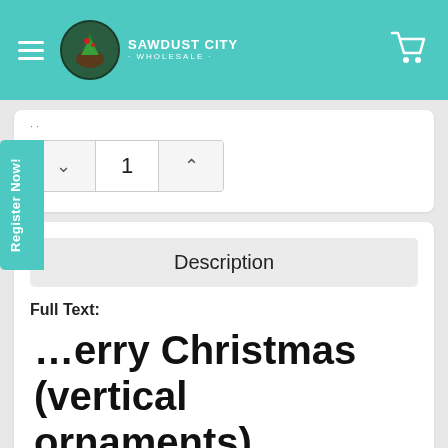Sawdust City Wholesale
1
Description
Full Text:
Merry Christmas (vertical ornaments)
Features: